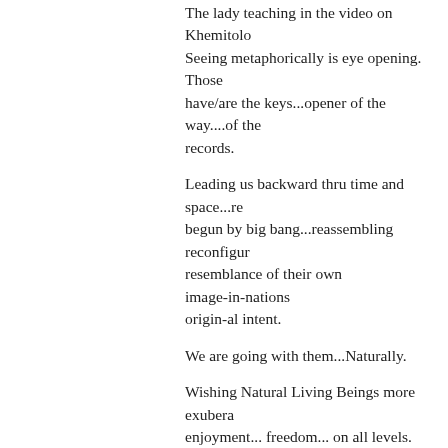The lady teaching in the video on Khemitolo... Seeing metaphorically is eye opening. Those have/are the keys...opener of the way....of the records.
Leading us backward thru time and space...re... begun by big bang...reassembling reconfigur... resemblance of their own image-in-nations... origin-al intent.
We are going with them...Naturally.
Wishing Natural Living Beings more exubera... enjoyment... freedom... on all levels.
★ Liked by 2 people
antoniatailor on May 27, 2019 at 7:13 p
@spiritwalker444:
Ah, well said – "until Hatter came along" ... For me it's just the opposite – Hatter was he...